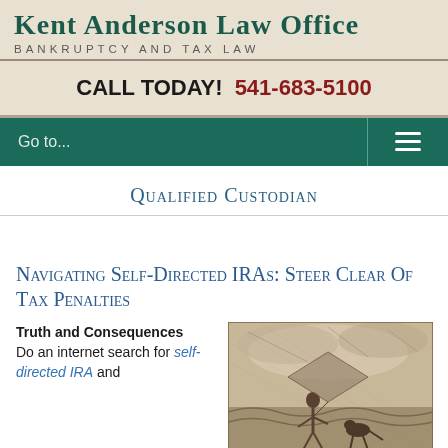Kent Anderson Law Office
BANKRUPTCY AND TAX LAW
CALL TODAY! 541-683-5100
Go to...
Qualified Custodian
Navigating Self-Directed IRAs: Steer Clear Of Tax Penalties
Truth and Consequences
Do an internet search for self-directed IRA and
[Figure (illustration): Vintage illustration of a person navigating stormy seas with a sail or kite]